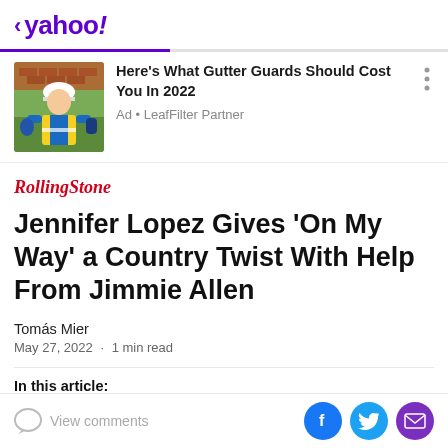< yahoo!
[Figure (screenshot): Ad banner with photo of worker in hard hat and safety vest, with headline 'Here's What Gutter Guards Should Cost You In 2022' and 'Ad • LeafFilter Partner']
[Figure (logo): Rolling Stone logo in red italic serif font]
Jennifer Lopez Gives ‘On My Way’ a Country Twist With Help From Jimmie Allen
Tomás Mier
May 27, 2022 · 1 min read
In this article:
View comments